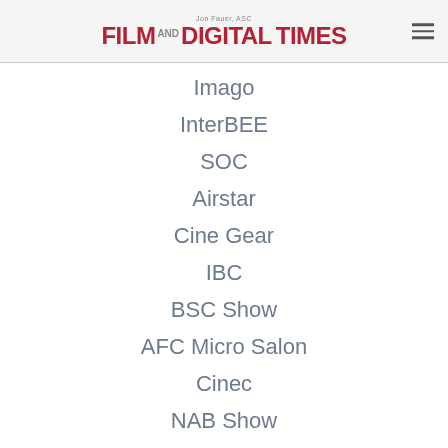Jon Fauer, ASC — FILM AND DIGITAL TIMES
Imago
InterBEE
SOC
Airstar
Cine Gear
IBC
BSC Show
AFC Micro Salon
Cinec
NAB Show
Camerimage